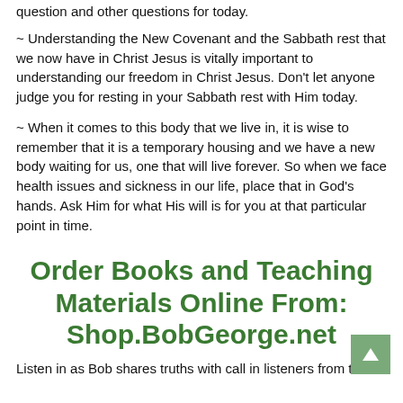question and other questions for today.
~ Understanding the New Covenant and the Sabbath rest that we now have in Christ Jesus is vitally important to understanding our freedom in Christ Jesus. Don’t let anyone judge you for resting in your Sabbath rest with Him today.
~ When it comes to this body that we live in, it is wise to remember that it is a temporary housing and we have a new body waiting for us, one that will live forever. So when we face health issues and sickness in our life, place that in God’s hands. Ask Him for what His will is for you at that particular point in time.
Order Books and Teaching Materials Online From: Shop.BobGeorge.net
Listen in as Bob shares truths with call in listeners from the